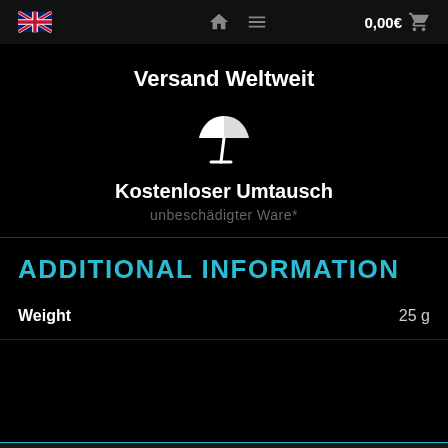🇬🇧  🏠 ≡  0,00€ 🛒
Versand Weltweit
[Figure (illustration): White beach umbrella with base icon]
Kostenloser Umtausch
unbeschädigter Ware*
ADDITIONAL INFORMATION
|  |  |
| --- | --- |
| Weight | 25 g |